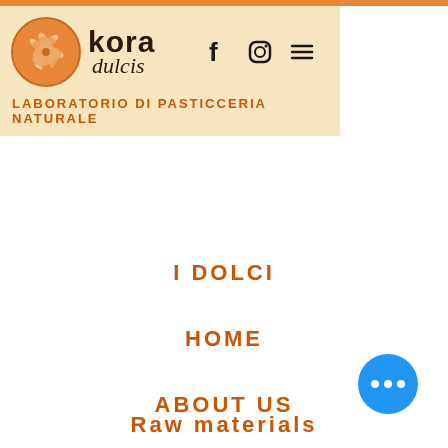[Figure (logo): Kora Dulcis logo - orange circular emblem with wheat/leaf design, brand name 'Kora dulcis' in dark text, social media icons (Facebook, Instagram, hamburger menu), on cream/yellow background, with tagline 'LABORATORIO DI PASTICCERIA NATURALE' in orange]
I DOLCI
HOME
ABOUT US
Raw materials